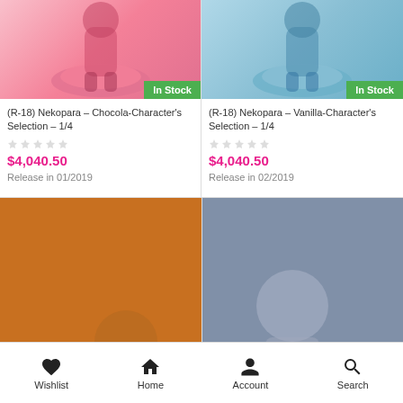[Figure (photo): Anime figure of Chocola from Nekopara on pink base, labeled In Stock]
(R-18) Nekopara – Chocola-Character's Selection – 1/4
$4,040.50
Release in 01/2019
[Figure (photo): Anime figure of Vanilla from Nekopara on blue base, labeled In Stock]
(R-18) Nekopara – Vanilla-Character's Selection – 1/4
$4,040.50
Release in 02/2019
[Figure (photo): Anime bunny girl figure with saxophone on gold glitter background, labeled SALE! and In Stock]
[Figure (photo): Anime blonde mecha girl figure, labeled SALE! and Sold out, with small chibi figure inset]
Wishlist   Home   Account   Search